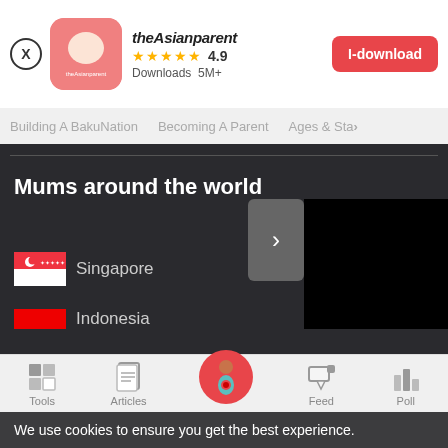[Figure (screenshot): theAsianparent app banner with logo, rating 4.9 stars, 5M+ downloads, and I-download button]
Building A BakuNation   Becoming A Parent   Ages & Sta>
[Figure (screenshot): Dark section with 'Mums around the world' heading, arrow button, black video area, Singapore and Indonesia country rows with flags]
[Figure (screenshot): Bottom navigation bar with Tools, Articles, center pregnant woman icon, Feed, and Poll]
We use cookies to ensure you get the best experience.
Learn More   Ok, Got it